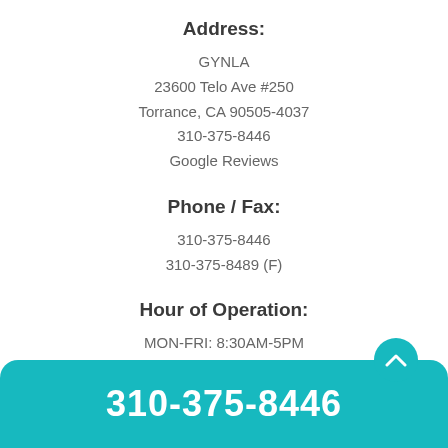Address:
GYNLA
23600 Telo Ave #250
Torrance, CA 90505-4037
310-375-8446
Google Reviews
Phone / Fax:
310-375-8446
310-375-8489 (F)
Hour of Operation:
MON-FRI: 8:30AM-5PM
SAT: CLOSED
SUN: CLOSED
310-375-8446